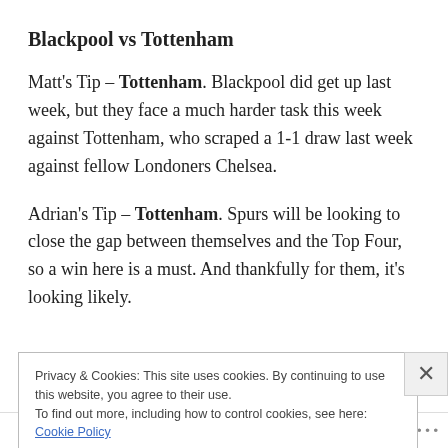Blackpool vs Tottenham
Matt's Tip – Tottenham. Blackpool did get up last week, but they face a much harder task this week against Tottenham, who scraped a 1-1 draw last week against fellow Londoners Chelsea.
Adrian's Tip – Tottenham. Spurs will be looking to close the gap between themselves and the Top Four, so a win here is a must. And thankfully for them, it's looking likely.
Privacy & Cookies: This site uses cookies. By continuing to use this website, you agree to their use.
To find out more, including how to control cookies, see here: Cookie Policy
Close and accept
Follow ...